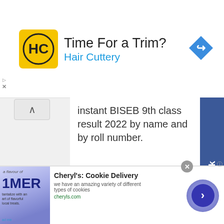[Figure (screenshot): Top advertisement banner for Hair Cuttery with yellow logo, text 'Time For a Trim?' and 'Hair Cuttery', and a blue diamond navigation arrow icon on the right]
instant BISEB 9th class result 2022 by name and by roll number.
Click Here To Check Your BISE Bannu Board 9th Class Result 2022
Admission
[Figure (screenshot): Facebook sidebar button in blue with vertical text 'facebook']
[Figure (screenshot): Bottom advertisement for Cheryl's Cookie Delivery with image, title, description and cheryls.com URL, plus a purple circle arrow button and close X button]